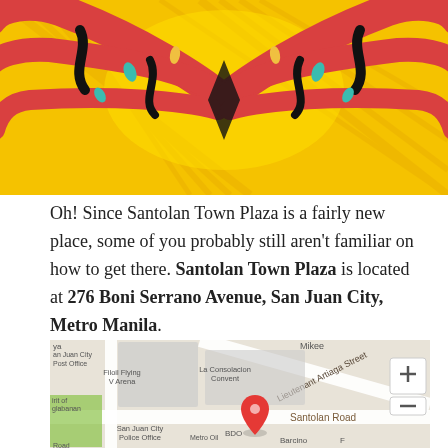[Figure (illustration): Colorful comic-style illustration with pink/red tentacle-like shapes on a yellow background with black accents, symmetrical design]
Oh! Since Santolan Town Plaza is a fairly new place, some of you probably still aren't familiar on how to get there. Santolan Town Plaza is located at 276 Boni Serrano Avenue, San Juan City, Metro Manila.
[Figure (map): Google Maps screenshot showing the location of Santolan Town Plaza at 276 Boni Serrano Avenue, San Juan City, Metro Manila. Nearby landmarks include Filoil Flying V Arena, San Juan City Police Office, La Consolacion Convent, Santolan Road, Lieutenant Artiaga Street, BDO, Barcino, Metro Oil. A red map pin marks the location. Map controls (+/-) visible on right side.]